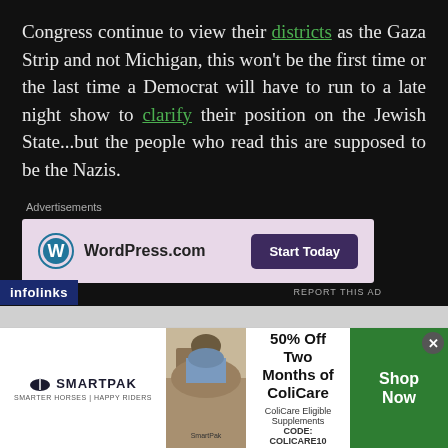Congress continue to view their districts as the Gaza Strip and not Michigan, this won't be the first time or the last time a Democrat will have to run to a late night show to clarify their position on the Jewish State...but the people who read this are supposed to be the Nazis.
[Figure (screenshot): Advertisement banner for WordPress.com with pink background, WordPress logo on left, 'Start Today' button in dark purple on right]
Don't forget to Subscribe for Updates. Also, Follow Us
[Figure (screenshot): Bottom advertisement bar: SmartPak logo with horse photo, 50% Off Two Months of ColiCare offer with Shop Now button in green]